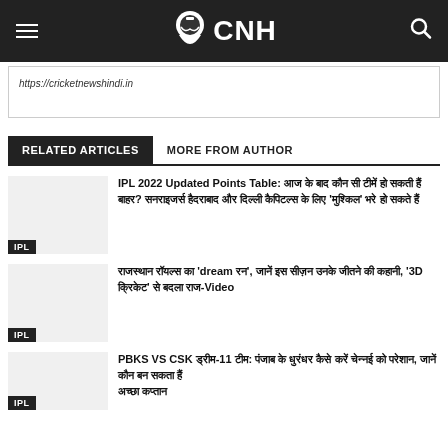CNH - https://cricketnewshindi.in
https://cricketnewshindi.in
RELATED ARTICLES | MORE FROM AUTHOR
IPL 2022 Updated Points Table: [Hindi text]
[Hindi text] 'dream [Hindi]', [Hindi] '3D [Hindi]' [Hindi] Video
PBKS VS CSK [Hindi]-11 [Hindi]: [Hindi text]